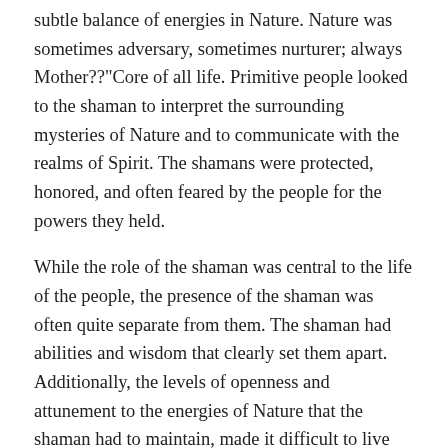subtle balance of energies in Nature. Nature was sometimes adversary, sometimes nurturer; always Mother??"Core of all life. Primitive people looked to the shaman to interpret the surrounding mysteries of Nature and to communicate with the realms of Spirit. The shamans were protected, honored, and often feared by the people for the powers they held.
While the role of the shaman was central to the life of the people, the presence of the shaman was often quite separate from them. The shaman had abilities and wisdom that clearly set them apart. Additionally, the levels of openness and attunement to the energies of Nature that the shaman had to maintain, made it difficult to live among others. One meaning of the word shaman is "ascetic." Ascetic means